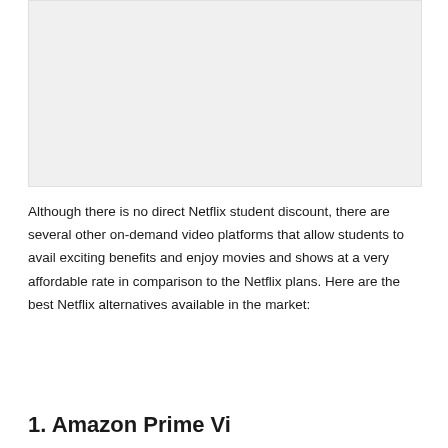[Figure (other): Placeholder image area, light gray background]
Although there is no direct Netflix student discount, there are several other on-demand video platforms that allow students to avail exciting benefits and enjoy movies and shows at a very affordable rate in comparison to the Netflix plans. Here are the best Netflix alternatives available in the market:
1. Amazon Prime Vi...